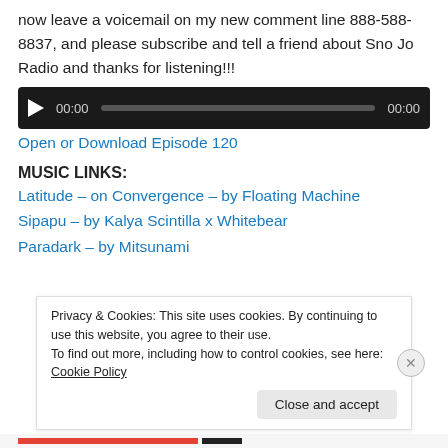now leave a voicemail on my new comment line 888-588-8837, and please subscribe and tell a friend about Sno Jo Radio and thanks for listening!!!
[Figure (other): Audio player with play button, time display 00:00, progress bar, and end time 00:00 on black background]
Open or Download Episode 120
MUSIC LINKS:
Latitude – on Convergence – by Floating Machine
Sipapu – by Kalya Scintilla x Whitebear
Paradark – by Mitsunami
Privacy & Cookies: This site uses cookies. By continuing to use this website, you agree to their use.
To find out more, including how to control cookies, see here: Cookie Policy
Close and accept